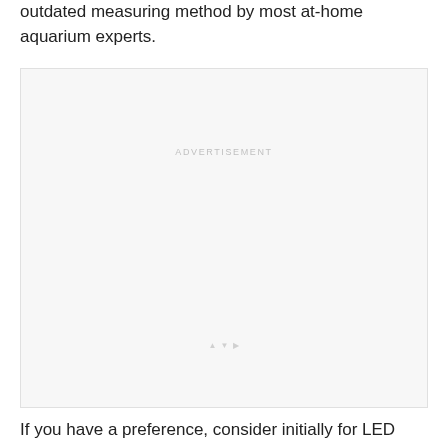outdated measuring method by most at-home aquarium experts.
[Figure (other): Advertisement placeholder box with light gray background and 'ADVERTISEMENT' label at top center]
If you have a preference, consider initially for LED